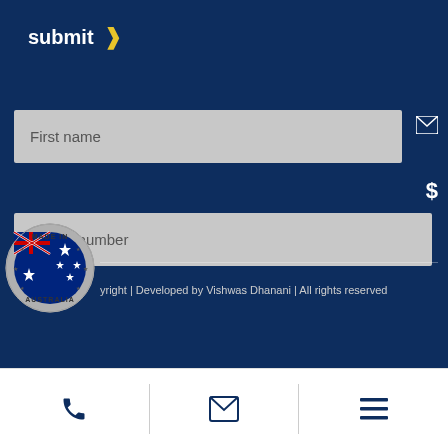submit >
First name
Phone number
yright | Developed by Vishwas Dhanani | All rights reserved
[Figure (logo): Made in Australia circular badge with Australian flag]